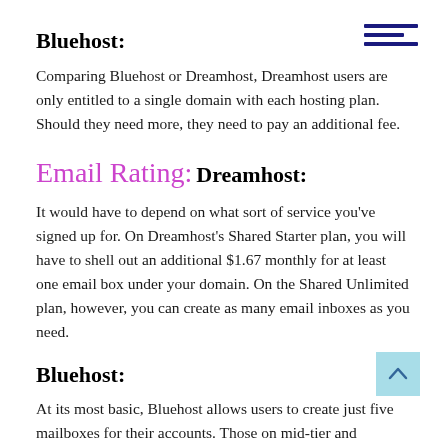Bluehost:
Comparing Bluehost or Dreamhost, Dreamhost users are only entitled to a single domain with each hosting plan. Should they need more, they need to pay an additional fee.
Email Rating:
Dreamhost:
It would have to depend on what sort of service you've signed up for. On Dreamhost's Shared Starter plan, you will have to shell out an additional $1.67 monthly for at least one email box under your domain. On the Shared Unlimited plan, however, you can create as many email inboxes as you need.
Bluehost:
At its most basic, Bluehost allows users to create just five mailboxes for their accounts. Those on mid-tier and